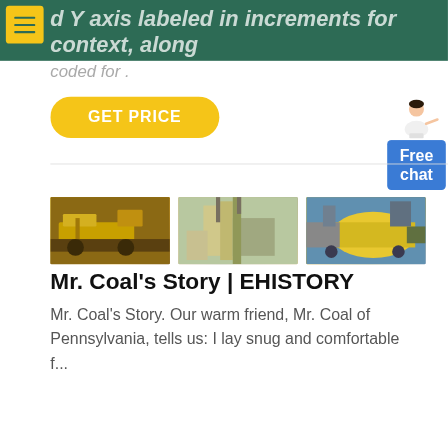d Y axis labeled in increments for context, along with grid lines and directly labeled sections, color-coded for .
GET PRICE
[Figure (photo): Three industrial mining/milling equipment photos side by side]
Mr. Coal's Story | EHISTORY
Mr. Coal's Story. Our warm friend, Mr. Coal of Pennsylvania, tells us: I lay snug and comfortable f...